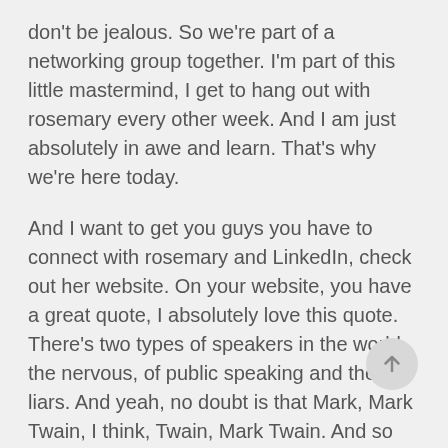don't be jealous. So we're part of a networking group together. I'm part of this little mastermind, I get to hang out with rosemary every other week. And I am just absolutely in awe and learn. That's why we're here today.
And I want to get you guys you have to connect with rosemary and LinkedIn, check out her website. On your website, you have a great quote, I absolutely love this quote. There's two types of speakers in the world, the nervous, of public speaking and the liars. And yeah, no doubt is that Mark, Mark Twain, I think, Twain, Mark Twain. And so again, guys, if you're if you haven't heard me say before, check out her website, check out her